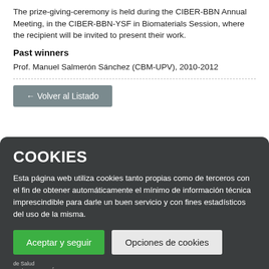The prize-giving-ceremony is held during the CIBER-BBN Annual Meeting, in the CIBER-BBN-YSF in Biomaterials Session, where the recipient will be invited to present their work.
Past winners
Prof. Manuel Salmerón Sánchez (CBM-UPV), 2010-2012
← Volver al Listado
COOKIES
Esta página web utiliza cookies tanto propias como de terceros con el fin de obtener automáticamente el mínimo de información técnica imprescindible para darle un buen servicio y con fines estadísticos del uso de la misma.
Aceptar y seguir
Opciones de cookies
Últimos Tweets